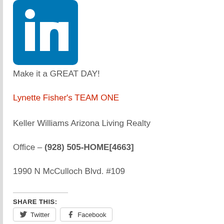[Figure (logo): LinkedIn logo — blue rounded square with white 'in' text]
Make it a GREAT DAY!
Lynette Fisher's TEAM ONE
Keller Williams Arizona Living Realty
Office – (928) 505-HOME[4663]
1990 N McCulloch Blvd. #109
SHARE THIS:
Twitter   Facebook